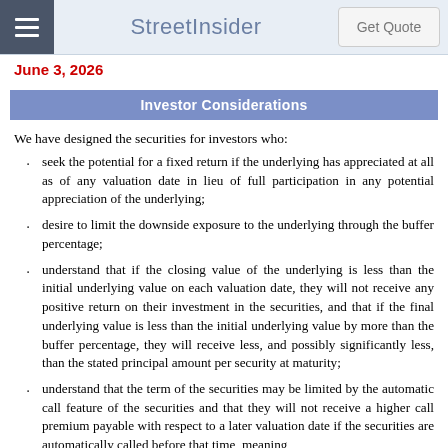StreetInsider | Get Quote
June 3, 2026
Investor Considerations
We have designed the securities for investors who:
seek the potential for a fixed return if the underlying has appreciated at all as of any valuation date in lieu of full participation in any potential appreciation of the underlying;
desire to limit the downside exposure to the underlying through the buffer percentage;
understand that if the closing value of the underlying is less than the initial underlying value on each valuation date, they will not receive any positive return on their investment in the securities, and that if the final underlying value is less than the initial underlying value by more than the buffer percentage, they will receive less, and possibly significantly less, than the stated principal amount per security at maturity;
understand that the term of the securities may be limited by the automatic call feature of the securities and that they will not receive a higher call premium payable with respect to a later valuation date if the securities are automatically called before that time, meaning…